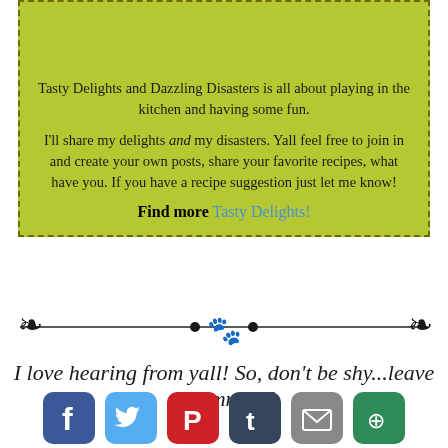[Figure (photo): Food image on dark background showing red domed dessert with dazzling text]
Tasty Delights and Dazzling Disasters is all about playing in the kitchen and having some fun.
I'll share my delights and my disasters. Yall feel free to join in and create your own posts, share your favorite recipes, what have you. If you have a recipe suggestion just let me know!
Find more Tasty Delights!
[Figure (illustration): Decorative divider with fleur-de-lis and paw print ornaments]
I love hearing from yall! So, don't be shy...leave a comment!
[Figure (infographic): Social media sharing icons: Facebook, Twitter, Pinterest, Tumblr, Email, More]